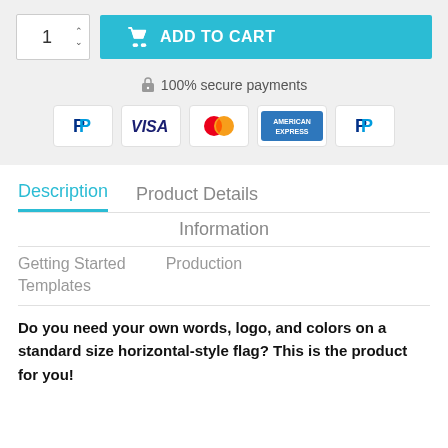[Figure (screenshot): E-commerce product page section showing: quantity selector with '1' and up/down arrows, teal 'ADD TO CART' button with cart icon, '100% secure payments' text with lock icon, payment method icons (PayPal, Visa, Mastercard, American Express, PayPal), navigation tabs (Description active in teal, Product Details, Information, Getting Started, Production, Templates), and bold description text.]
🔒 100% secure payments
Description
Product Details
Information
Getting Started
Production
Templates
Do you need your own words, logo, and colors on a standard size horizontal-style flag? This is the product for you!